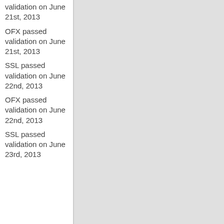validation on June 21st, 2013
OFX passed validation on June 21st, 2013
SSL passed validation on June 22nd, 2013
OFX passed validation on June 22nd, 2013
SSL passed validation on June 23rd, 2013